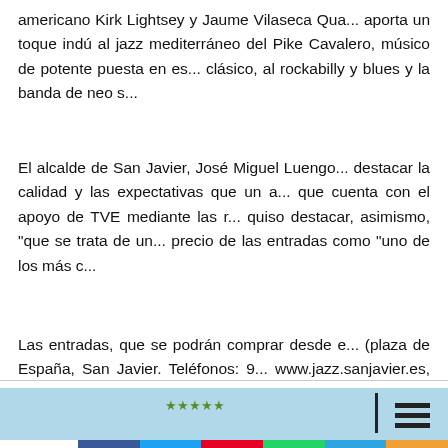americano Kirk Lightsey y Jaume Vilaseca Qua... aporta un toque indú al jazz mediterráneo del Pike Cavalero, músico de potente puesta en es... clásico, al rockabilly y blues y la banda de neo s...
El alcalde de San Javier, José Miguel Luengo... destacar la calidad y las expectativas que un a... que cuenta con el apoyo de TVE mediante las r... quiso destacar, asimismo, "que se trata de un... precio de las entradas como "uno de los más c...
Las entradas, que se podrán comprar desde e... (plaza de España, San Javier. Teléfonos: 9... www.jazz.sanjavier.es, tienen un precio medio... abono numerado, que incluye 10 noches de co... de 115 euros.
[Figure (other): Partial image strip visible at bottom with light blue background and logo/graphic elements]
[Figure (infographic): Social sharing bar with share count 0 SHARES and buttons: Facebook, Twitter, Pinterest, WhatsApp, Telegram, More]